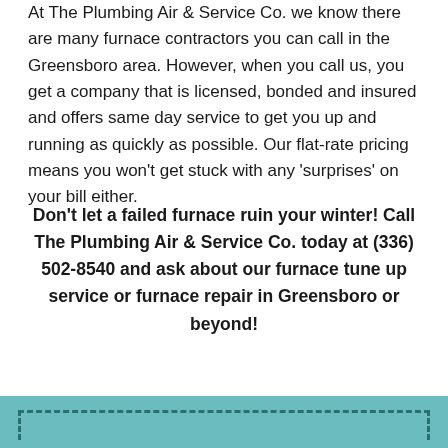At The Plumbing Air & Service Co. we know there are many furnace contractors you can call in the Greensboro area. However, when you call us, you get a company that is licensed, bonded and insured and offers same day service to get you up and running as quickly as possible. Our flat-rate pricing means you won't get stuck with any 'surprises' on your bill either.
Don't let a failed furnace ruin your winter! Call The Plumbing Air & Service Co. today at (336) 502-8540 and ask about our furnace tune up service or furnace repair in Greensboro or beyond!